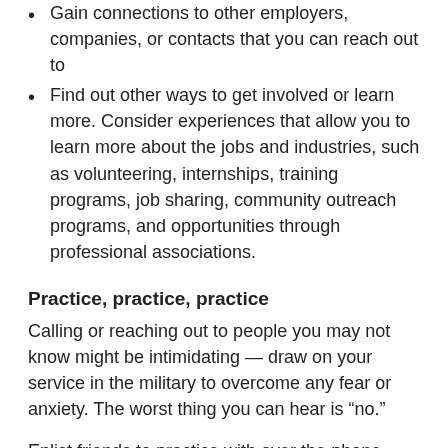Gain connections to other employers, companies, or contacts that you can reach out to
Find out other ways to get involved or learn more. Consider experiences that allow you to learn more about the jobs and industries, such as volunteering, internships, training programs, job sharing, community outreach programs, and opportunities through professional associations.
Practice, practice, practice
Calling or reaching out to people you may not know might be intimidating — draw on your service in the military to overcome any fear or anxiety. The worst thing you can hear is “no.”
Enlist friends to practice with over the phone. Record the conversation and play it back later to see how you can